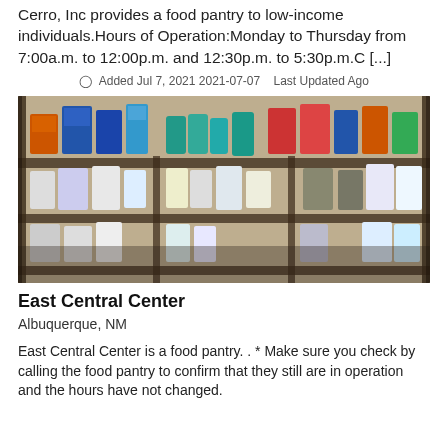Cerro, Inc provides a food pantry to low-income individuals.Hours of Operation:Monday to Thursday from 7:00a.m. to 12:00p.m. and 12:30p.m. to 5:30p.m.C [...]
Added Jul 7, 2021 2021-07-07   Last Updated Ago
[Figure (photo): Photo of food pantry shelves stocked with boxes and canned goods]
East Central Center
Albuquerque, NM
East Central Center is a food pantry. . * Make sure you check by calling the food pantry to confirm that they still are in operation and the hours have not changed.